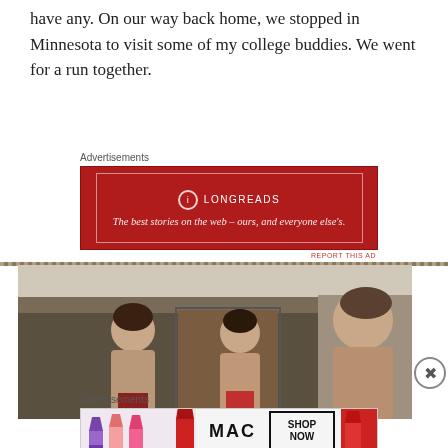have any. On our way back home, we stopped in Minnesota to visit some of my college buddies. We went for a run together.
Advertisements
[Figure (other): Longreads advertisement banner: dark red background with white border, Longreads logo and text 'The best stories on the web – ours, and everyone else's.']
[Figure (photo): Vintage photograph of three shirtless men standing in front of what appears to be a garage. The men are lean and appear to be before or after a run.]
Advertisements
[Figure (other): MAC cosmetics advertisement showing lipsticks in purple, pink, and red with MAC logo and 'SHOP NOW' button.]